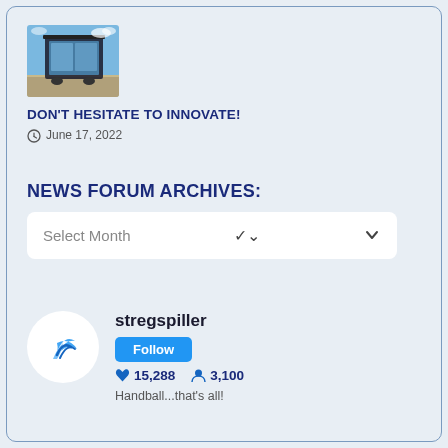[Figure (photo): Thumbnail photo of a modern glass/steel building or bus stop structure outdoors with blue sky]
DON'T HESITATE TO INNOVATE!
June 17, 2022
NEWS FORUM ARCHIVES:
Select Month
[Figure (other): Twitter/social media widget showing account 'stregspiller' with Follow button, 15,288 tweets, 3,100 followers, bio: Handball...that's all!]